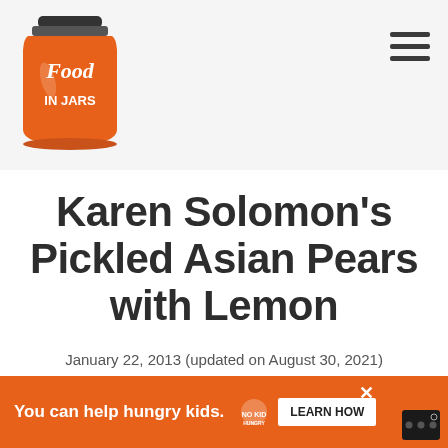[Figure (logo): Food in Jars logo — orange mason jar illustration with 'Food in Jars' text]
Karen Solomon's Pickled Asian Pears with Lemon
January 22, 2013 (updated on August 30, 2021)
5 from 1 vote
[Figure (infographic): Advertisement banner: 'You can help hungry kids.' No Kid Hungry logo, LEARN HOW button, close X button]